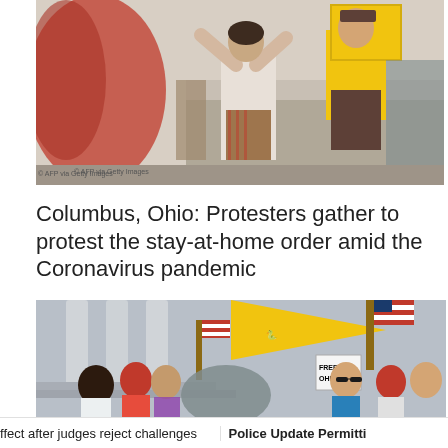[Figure (photo): Close-up photo of protesters at a rally; American flag in foreground, person in white top and plaid skirt visible, man in yellow shirt holding yellow sign in background]
© AFP via Getty Images
Columbus, Ohio: Protesters gather to protest the stay-at-home order amid the Coronavirus pandemic
[Figure (photo): Crowd of protesters in front of a columned government building; large yellow Gadsden flag waving, American flags visible, sign reading FREE OHIO, people with megaphone]
ffect after judges reject challenges   Police Update Permitti